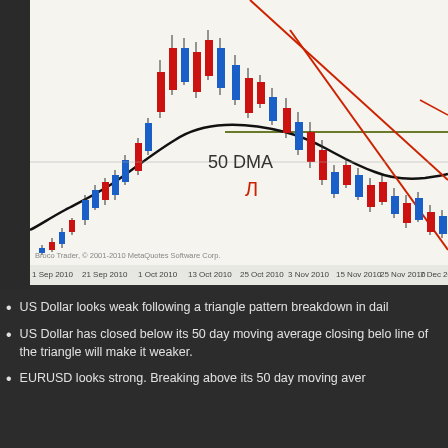[Figure (continuous-plot): EURUSD daily candlestick chart showing price action from 1 Sep 2010 to 17 Dec 2010, with a 50-day moving average (black curve), descending channel lines (red), a horizontal support/resistance line (olive/green), and red/blue candlesticks. Labeled '50 DMA' with a red arrow. Broco Trader watermark. X-axis shows dates: 1 Sep 2010, 21 Sep 2010, 1 Oct 2010, 13 Oct 2010, 25 Oct 2010, 3 Nov 2010, 15 Nov 2010, 25 Nov 2010, 7 Dec 2010, 17 Dec.]
US Dollar looks weak following a triangle pattern breakdown in dail
US Dollar has closed below its 50 day moving average closing belo line of the triangle will make it weaker.
EURUSD looks strong. Breaking above its 50 day moving aver